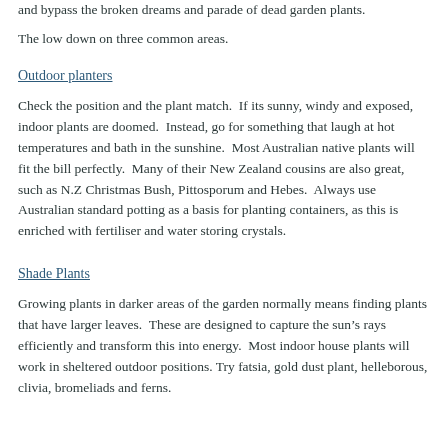and bypass the broken dreams and parade of dead garden plants.
The low down on three common areas.
Outdoor planters
Check the position and the plant match.  If its sunny, windy and exposed, indoor plants are doomed.  Instead, go for something that laugh at hot temperatures and bath in the sunshine.  Most Australian native plants will fit the bill perfectly.  Many of their New Zealand cousins are also great, such as N.Z Christmas Bush, Pittosporum and Hebes.  Always use Australian standard potting as a basis for planting containers, as this is enriched with fertiliser and water storing crystals.
Shade Plants
Growing plants in darker areas of the garden normally means finding plants that have larger leaves.  These are designed to capture the sun's rays efficiently and transform this into energy.  Most indoor house plants will work in sheltered outdoor positions. Try fatsia, gold dust plant, helleborous, clivia, bromeliads and ferns.